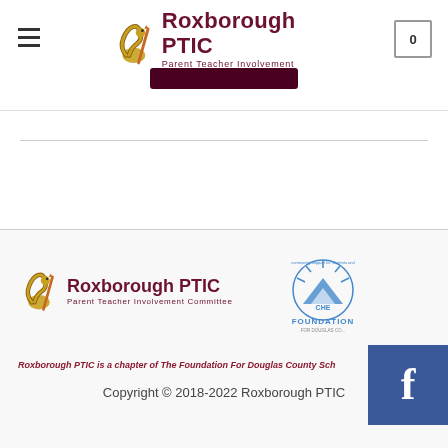Roxborough PTIC - Parent Teacher Involvement Committee
[Figure (logo): Roxborough PTIC logo with snake mascot and text 'Roxborough PTIC Parent Teacher Involvement Committee']
[Figure (logo): Roxborough PTIC footer logo with snake mascot]
[Figure (logo): The Foundation For Douglas County Schools logo]
Roxborough PTIC is a chapter of The Foundation For Douglas County Sch...
Copyright © 2018-2022 Roxborough PTIC